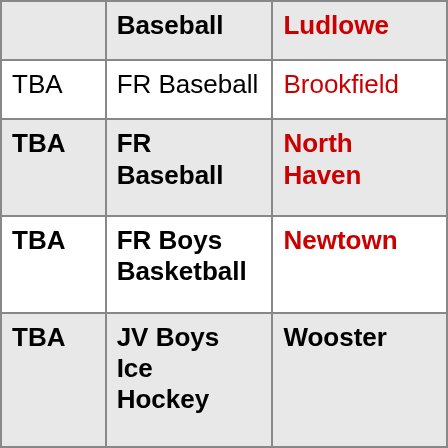|  | Baseball | Ludlowe |
| TBA | FR Baseball | Brookfield |
| TBA | FR Baseball | North Haven |
| TBA | FR Boys Basketball | Newtown |
| TBA | JV Boys Ice Hockey | Wooster |